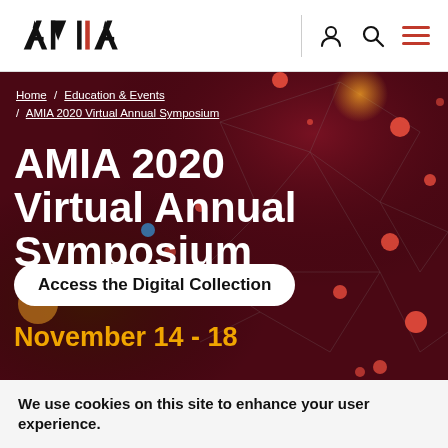AMIA
Home / Education & Events / AMIA 2020 Virtual Annual Symposium
AMIA 2020 Virtual Annual Symposium
Access the Digital Collection
November 14 - 18
We use cookies on this site to enhance your user experience.